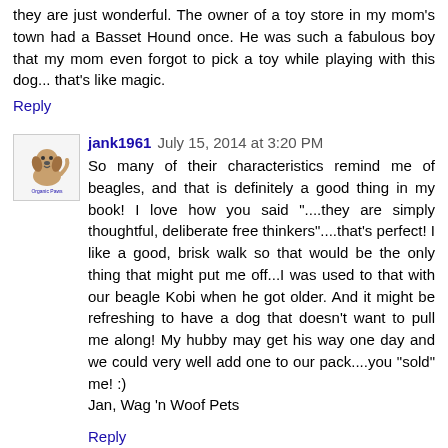they are just wonderful. The owner of a toy store in my mom's town had a Basset Hound once. He was such a fabulous boy that my mom even forgot to pick a toy while playing with this dog... that's like magic.
Reply
jank1961  July 15, 2014 at 3:20 PM
So many of their characteristics remind me of beagles, and that is definitely a good thing in my book! I love how you said "....they are simply thoughtful, deliberate free thinkers"....that's perfect! I like a good, brisk walk so that would be the only thing that might put me off...I was used to that with our beagle Kobi when he got older. And it might be refreshing to have a dog that doesn't want to pull me along! My hubby may get his way one day and we could very well add one to our pack....you "sold" me! :)
Jan, Wag 'n Woof Pets
Reply
To leave a comment, click the button below to sign in with Google.